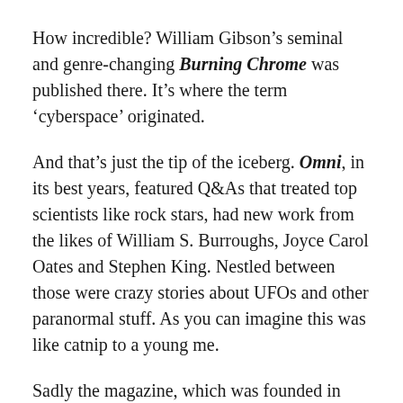How incredible? William Gibson's seminal and genre-changing Burning Chrome was published there. It's where the term 'cyberspace' originated.
And that's just the tip of the iceberg. Omni, in its best years, featured Q&As that treated top scientists like rock stars, had new work from the likes of William S. Burroughs, Joyce Carol Oates and Stephen King. Nestled between those were crazy stories about UFOs and other paranormal stuff. As you can imagine this was like catnip to a young me.
Sadly the magazine, which was founded in 1981, folded in 1995. It chugged along on the web until 1998. And now, like founder and publisher Bob Guccione, it is no more. But unlike Bob Guccione,